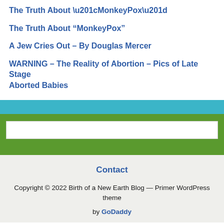The Truth About “MonkeyPox”
A Jew Cries Out – By Douglas Mercer
WARNING – The Reality of Abortion – Pics of Late Stage Aborted Babies
Contact
Copyright © 2022 Birth of a New Earth Blog — Primer WordPress theme by GoDaddy